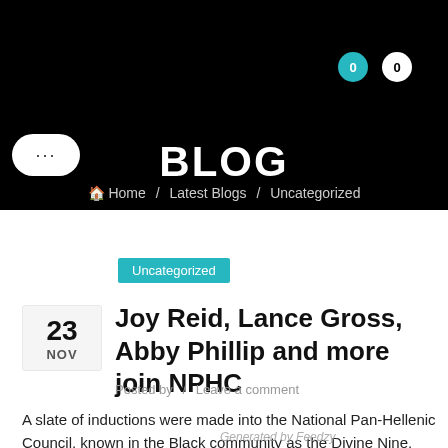BLOG
Home / Latest Blogs / Uncategorized
Uncategorized
Joy Reid, Lance Gross, Abby Phillip and more join NPHC
Posted by / Leave a comment
A slate of inductions were made into the National Pan-Hellenic Council, known in the Black community as the Divine Nine.